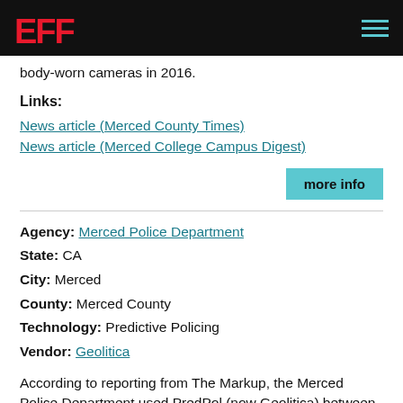EFF
body-worn cameras in 2016.
Links:
News article (Merced County Times)
News article (Merced College Campus Digest)
more info
Agency: Merced Police Department
State: CA
City: Merced
County: Merced County
Technology: Predictive Policing
Vendor: Geolitica
According to reporting from The Markup, the Merced Police Department used PredPol (now Geolitica) between 02/22/18 and 07/01/20.
Links: